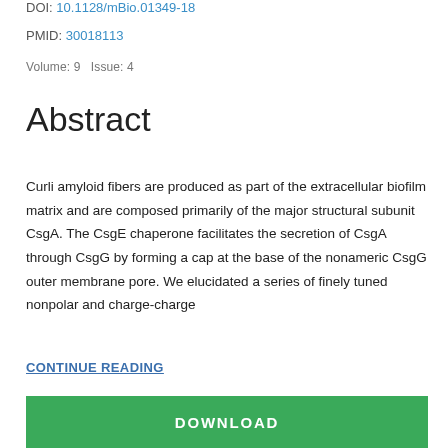DOI: 10.1128/mBio.01349-18
PMID: 30018113
Volume: 9   Issue: 4
Abstract
Curli amyloid fibers are produced as part of the extracellular biofilm matrix and are composed primarily of the major structural subunit CsgA. The CsgE chaperone facilitates the secretion of CsgA through CsgG by forming a cap at the base of the nonameric CsgG outer membrane pore. We elucidated a series of finely tuned nonpolar and charge-charge
CONTINUE READING
DOWNLOAD